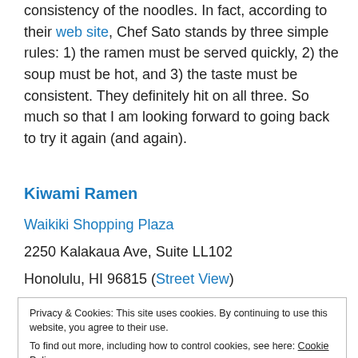consistency of the noodles. In fact, according to their web site, Chef Sato stands by three simple rules: 1) the ramen must be served quickly, 2) the soup must be hot, and 3) the taste must be consistent. They definitely hit on all three. So much so that I am looking forward to going back to try it again (and again).
Kiwami Ramen
Waikiki Shopping Plaza
2250 Kalakaua Ave, Suite LL102
Honolulu, HI 96815 (Street View)
Privacy & Cookies: This site uses cookies. By continuing to use this website, you agree to their use.
To find out more, including how to control cookies, see here: Cookie Policy
Close and accept
More directions are for sending consumers visible reniim est